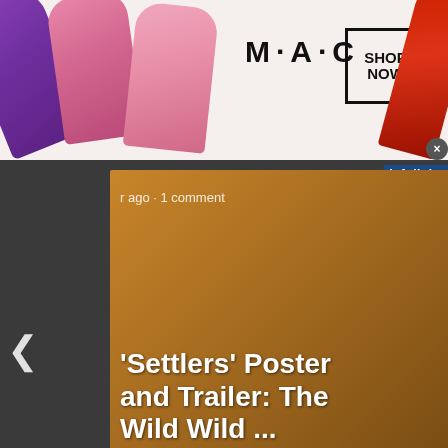[Figure (screenshot): MAC Cosmetics advertisement banner showing lipsticks (purple, pink, pink2, red) with MAC logo and SHOP NOW box button and close X]
[Figure (screenshot): Website content carousel showing two movie cards: 'Settlers' Poster and Trailer: The Wild Wild ...' and 'The Umbrella Academy' Season 3 ...' with infolinks label, left and right navigation arrows, and metadata timestamps]
[Figure (screenshot): Disqus comments panel showing tabs: Comments (active, orange underline), Community, lock icon, notification bubble with 1, Login button, Sort by Best dropdown, Favorite option, and infolinks brand label overlay]
[Figure (screenshot): Wayfair online advertisement with thumbnail showing Bedroom Sets for Less on purple background, Wayfair.com URL in orange, headline '- Online Home Store Sale!', description 'Shop for A Zillion Things Home across all styles at Wayfair!', www.wayfair.com link, right arrow button in blue circle, close X button]